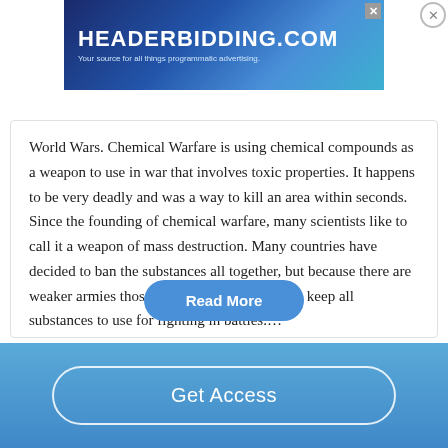[Figure (screenshot): HEADERBIDDING.COM advertisement banner — 'Your source for all things programmatic advertising.']
World Wars. Chemical Warfare is using chemical compounds as a weapon to use in war that involves toxic properties. It happens to be very deadly and was a way to kill an area within seconds. Since the founding of chemical warfare, many scientists like to call it a weapon of mass destruction. Many countries have decided to ban the substances all together, but because there are weaker armies those countries have chosen to keep all substances to use for fighting in battles....
Read More
Get Access